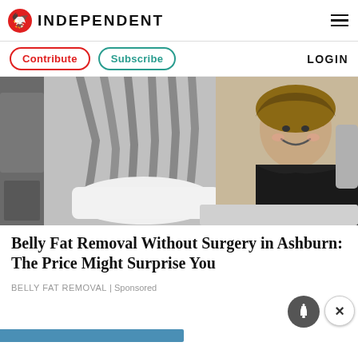INDEPENDENT
Contribute | Subscribe | LOGIN
[Figure (photo): A smiling woman lying on a medical treatment chair connected to multiple grey tubes and hoses of a body contouring machine in a clinical setting.]
Belly Fat Removal Without Surgery in Ashburn: The Price Might Surprise You
BELLY FAT REMOVAL | Sponsored